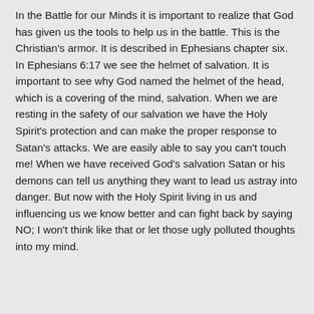In the Battle for our Minds it is important to realize that God has given us the tools to help us in the battle. This is the Christian's armor. It is described in Ephesians chapter six. In Ephesians 6:17 we see the helmet of salvation. It is important to see why God named the helmet of the head, which is a covering of the mind, salvation. When we are resting in the safety of our salvation we have the Holy Spirit's protection and can make the proper response to Satan's attacks. We are easily able to say you can't touch me! When we have received God's salvation Satan or his demons can tell us anything they want to lead us astray into danger. But now with the Holy Spirit living in us and influencing us we know better and can fight back by saying NO; I won't think like that or let those ugly polluted thoughts into my mind.